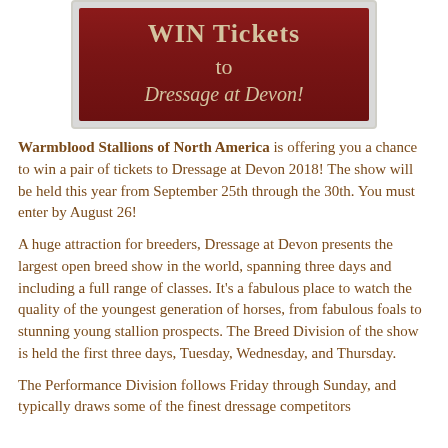[Figure (illustration): Dark red/maroon banner with tan/gold text reading 'WIN Tickets to Dressage at Devon!' on a grey background with rounded corners]
Warmblood Stallions of North America is offering you a chance to win a pair of tickets to Dressage at Devon 2018! The show will be held this year from September 25th through the 30th. You must enter by August 26!
A huge attraction for breeders, Dressage at Devon presents the largest open breed show in the world, spanning three days and including a full range of classes. It's a fabulous place to watch the quality of the youngest generation of horses, from fabulous foals to stunning young stallion prospects. The Breed Division of the show is held the first three days, Tuesday, Wednesday, and Thursday.
The Performance Division follows Friday through Sunday, and typically draws some of the finest dressage competitors